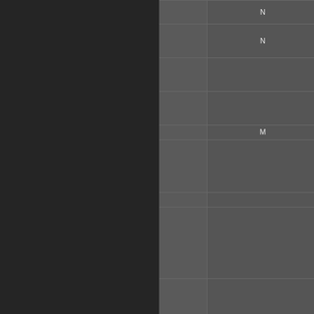| Platform Name | Aliases | Other |
| --- | --- | --- |
| Game Boy Color | Gameboy Color; GBC | N |
| Game Boy Advance | GBA Gameboy Advance | N |
| Apple II | Apple II E; Apple IIGS; Apple2 |  |
| DreamCast | DC Sega Dreamcast |  |
| X-Box | Xbox | M |
| Atari 8-Bit Computers | Atari 8-Bit Atari XL/XE; AtariXL; XE; Atari 800; Atari 400 |  |
| Macintosh | Mac; Mac OS |  |
| PC Engine / TurboGrafx-16 | PC Engine/TG16 TurboGrafx-16; TurboGrafx 16; Turbo-Grafx 16 |  |
| PC Engine CD / TurboGrafx-CD | PC Engine CD / TG-CD TurboGrafx-CD; Turbo CD |  |
| Nintendo 64 | N64 | N |
| GameCube | GCube | N |
| Sega GameGear | Game Gear; GameGear |  |
| Commodore 16/Plus 4 | C16+4; C=16/Plus4 | Com |
|  | Master |  |